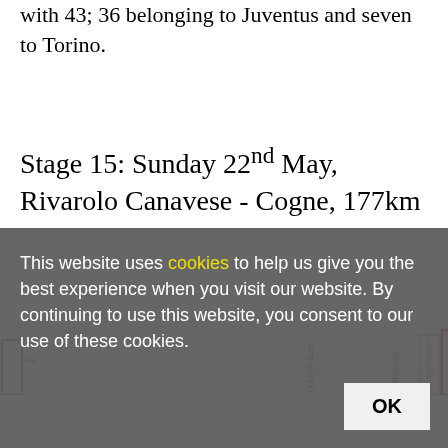with 43; 36 belonging to Juventus and seven to Torino.
Stage 15: Sunday 22nd May, Rivarolo Canavese - Cogne, 177km
[Figure (infographic): Route elevation diagram showing stage waypoints including ESE, LA-LES FLEURS, VERROGNE, COGNE-CENTRO, COGNE labels as vertical text on colored boxes]
This website uses cookies to help us give you the best experience when you visit our website. By continuing to use this website, you consent to our use of these cookies.